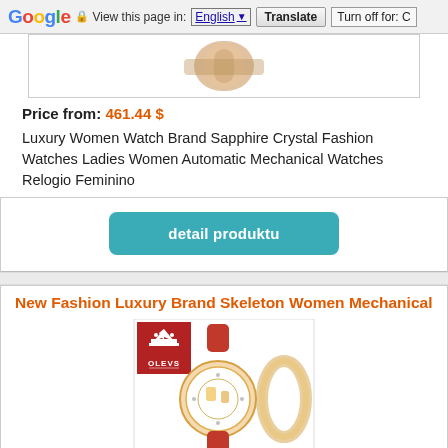Google | View this page in: English | Translate | Turn off for: C
[Figure (photo): Luxury women watch product image, partial view at top of card]
Price from: 461.44 $
Luxury Women Watch Brand Sapphire Crystal Fashion Watches Ladies Women Automatic Mechanical Watches Relogio Feminino
detail produktu
New Fashion Luxury Brand Skeleton Women Mechanical
[Figure (photo): OLEVS brand luxury women mechanical skeleton watch with red leather strap and rose gold case, with bracelet accessory. OLEVS logo badge in top-left corner.]